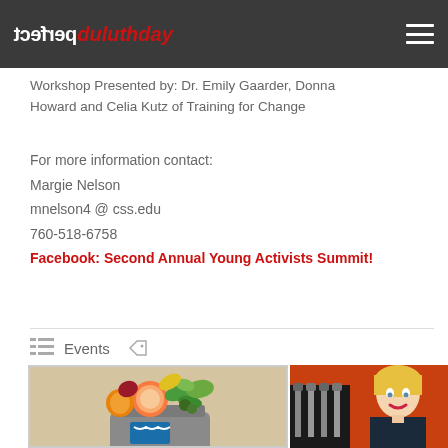perfectduluthday (logo) with hamburger menu
Workshop Presented by: Dr. Emily Gaarder, Donna Howard and Celia Kutz of Training for Change
For more information contact:
Margie Nelson
mnelson4 @ css.edu
760-518-6758
Facebook: Second Annual Young Activists Summit!
Events
[Figure (photo): Overflowing trash can with food waste and vegetables]
[Figure (photo): Blonde woman smiling in front of bar taps with orange/red background]